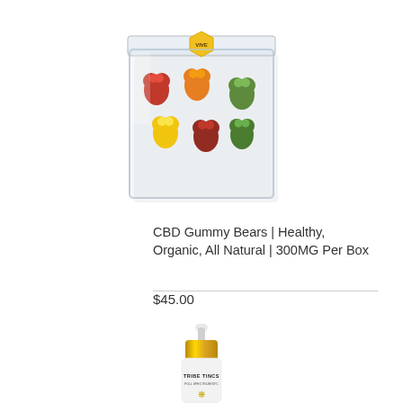[Figure (photo): A clear acrylic box containing colorful CBD gummy bears in red, orange, yellow, and green colors, with a hexagonal logo on the lid.]
CBD Gummy Bears | Healthy, Organic, All Natural | 300MG Per Box
$45.00
[Figure (photo): A white dropper bottle with a gold cap and white dropper tip, branded TRIBE TINCS, with a cannabis leaf gold emblem on the front.]